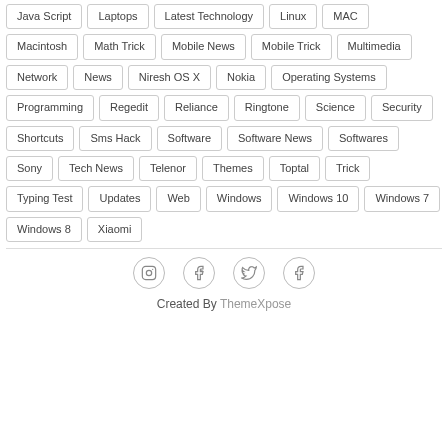Java Script
Laptops
Latest Technology
Linux
MAC
Macintosh
Math Trick
Mobile News
Mobile Trick
Multimedia
Network
News
Niresh OS X
Nokia
Operating Systems
Programming
Regedit
Reliance
Ringtone
Science
Security
Shortcuts
Sms Hack
Software
Software News
Softwares
Sony
Tech News
Telenor
Themes
Toptal
Trick
Typing Test
Updates
Web
Windows
Windows 10
Windows 7
Windows 8
Xiaomi
Created By ThemeXpose